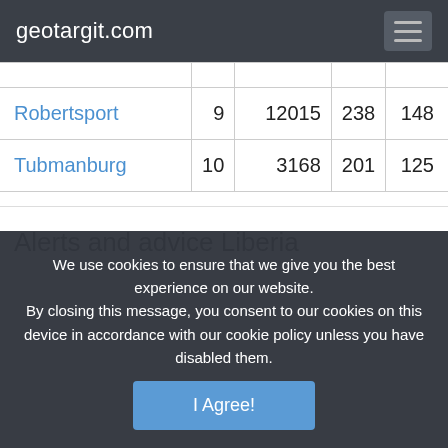geotargit.com
| Robertsport | 9 | 12015 | 238 | 148 |
| Tubmanburg | 10 | 3168 | 201 | 125 |
Alerts and advice Liberia
We use cookies to ensure that we give you the best experience on our website. By closing this message, you consent to our cookies on this device in accordance with our cookie policy unless you have disabled them.